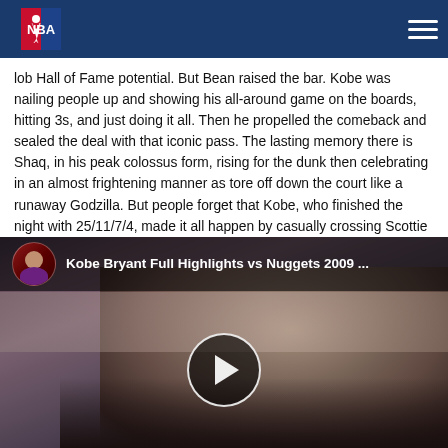NBA navigation bar
lob Hall of Fame potential. But Bean raised the bar. Kobe was nailing people up and showing his all-around game on the boards, hitting 3s, and just doing it all. Then he propelled the comeback and sealed the deal with that iconic pass. The lasting memory there is Shaq, in his peak colossus form, rising for the dunk then celebrating in an almost frightening manner as tore off down the court like a runaway Godzilla. But people forget that Kobe, who finished the night with 25/11/7/4, made it all happen by casually crossing Scottie Pippen—the best defender I ever saw—into next week. Left my guy in the dust then made history with the toss. It was iconic. And he was now an icon.
[Figure (screenshot): YouTube video embed showing Kobe Bryant Full Highlights vs Nuggets 2009 with circular avatar thumbnail of Kobe in Lakers jersey and a play button overlay]